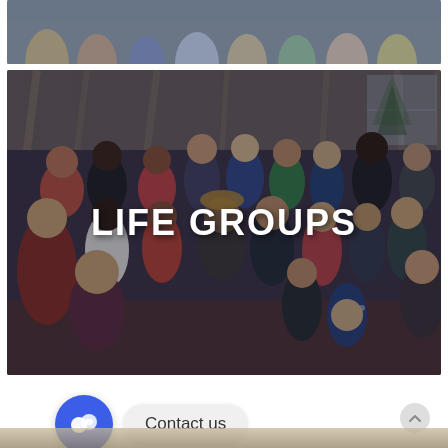[Figure (photo): Partial view of a group photo at the top of the page, showing colorful clothing of people gathered together]
[Figure (photo): Large group photo of a diverse group of people gathered indoors in front of curtains with a Christmas tree in the background. The text 'LIFE GROUPS' is overlaid in large white bold letters in the center of the image.]
LIFE GROUPS
[Figure (screenshot): Contact us chat widget showing a blue circular chat icon and a rounded pill-shaped button labeled 'Contact us']
Contact us